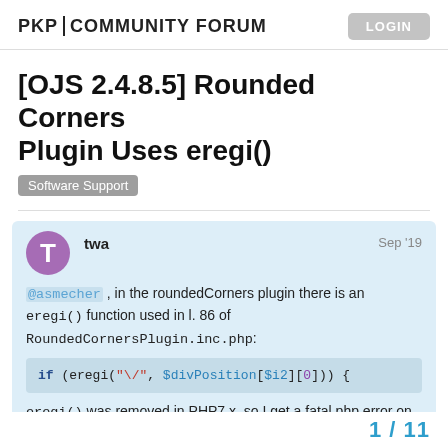PKP|COMMUNITY FORUM
[OJS 2.4.8.5] Rounded Corners Plugin Uses eregi()
Software Support
twa  Sep '19
@asmecher , in the roundedCorners plugin there is an eregi() function used in l. 86 of RoundedCornersPlugin.inc.php:
if (eregi("\/", $divPosition[$i2][0])) {
eregi() was removed in PHP7.x, so I get a fatal php error on this. Couldn't this be replaced by
1 / 11